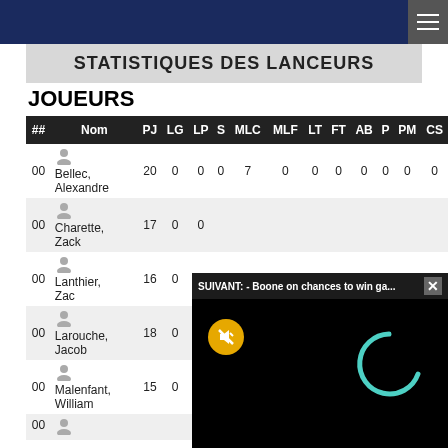STATISTIQUES DES LANCEURS
JOUEURS
| ## | Nom | PJ | LG | LP | S | MLC | MLF | LT | FT | AB | P | PM | CS |
| --- | --- | --- | --- | --- | --- | --- | --- | --- | --- | --- | --- | --- | --- |
| 00 | Bellec, Alexandre | 20 | 0 | 0 | 0 | 7 | 0 | 0 | 0 | 0 | 0 | 0 | 0 |
| 00 | Charette, Zack | 17 | 0 | 0 |  |  |  |  |  |  |  |  |  |
| 00 | Lanthier, Zac | 16 | 0 | 0 |  |  |  |  |  |  |  |  |  |
| 00 | Larouche, Jacob | 18 | 0 | 0 |  |  |  |  |  |  |  |  |  |
| 00 | Malenfant, William | 15 | 0 | 0 | 0 | 10 | 0 | 0 | 0 | 0 | 0 | 0 | 0 |
[Figure (screenshot): Video overlay showing 'SUIVANT: - Boone on chances to win ga...' with a loading spinner and mute button on black background]